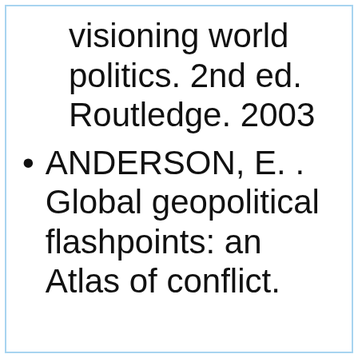visioning world politics. 2nd ed. Routledge. 2003
ANDERSON, E. . Global geopolitical flashpoints: an Atlas of conflict. Routledge. 2013